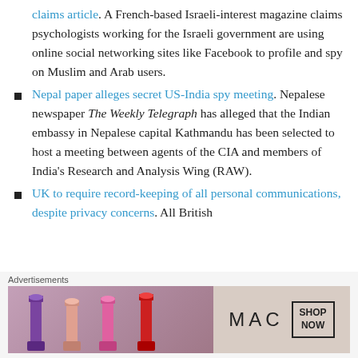claims article. A French-based Israeli-interest magazine claims psychologists working for the Israeli government are using online social networking sites like Facebook to profile and spy on Muslim and Arab users.
Nepal paper alleges secret US-India spy meeting. Nepalese newspaper The Weekly Telegraph has alleged that the Indian embassy in Nepalese capital Kathmandu has been selected to host a meeting between agents of the CIA and members of India's Research and Analysis Wing (RAW).
UK to require record-keeping of all personal communications, despite privacy concerns. All British
[Figure (other): Advertisement banner for MAC cosmetics showing lipsticks and a SHOP NOW button]